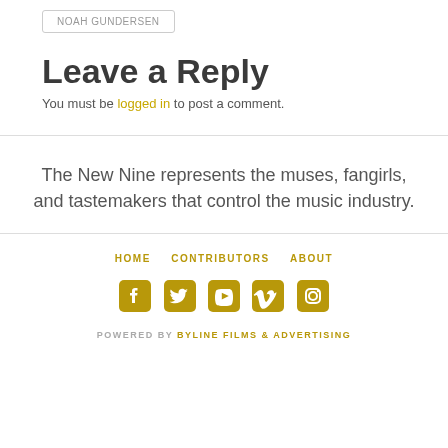NOAH GUNDERSEN
Leave a Reply
You must be logged in to post a comment.
The New Nine represents the muses, fangirls, and tastemakers that control the music industry.
HOME   CONTRIBUTORS   ABOUT
POWERED BY BYLINE FILMS & ADVERTISING